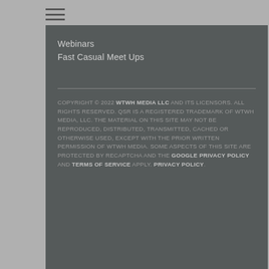Webinars
Fast Casual Meet Ups
COPYRIGHT © 2022 WTWH MEDIA LLC AND ITS LICENSORS. ALL RIGHTS RESERVED. QSR IS A REGISTERED TRADEMARK OF WTWH MEDIA, LLC. THE MATERIAL ON THIS SITE MAY NOT BE REPRODUCED, DISTRIBUTED, TRANSMITTED, CACHED OR OTHERWISE USED, EXCEPT WITH THE PRIOR WRITTEN PERMISSION OF WTWH MEDIA. SOME ASPECTS OF THIS SITE ARE PROTECTED BY RECAPTCHA AND THE GOOGLE PRIVACY POLICY AND TERMS OF SERVICE APPLY. PRIVACY POLICY.